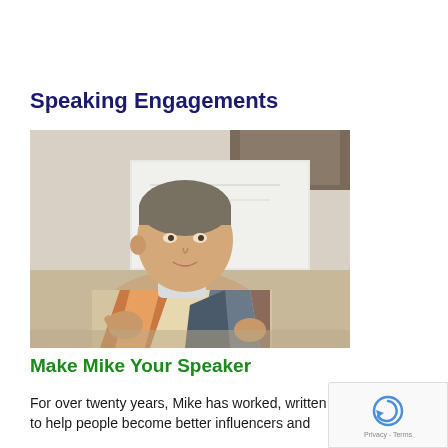Speaking Engagements
[Figure (photo): A man in a colorful patterned sweater speaking in front of a whiteboard, gesturing with his hands.]
Make Mike Your Speaker
For over twenty years, Mike has worked, written and spoke to help people become better influencers and